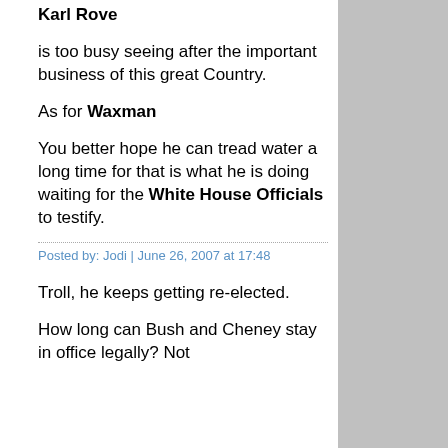Karl Rove
is too busy seeing after the important business of this great Country.
As for Waxman
You better hope he can tread water a long time for that is what he is doing waiting for the White House Officials to testify.
Posted by: Jodi | June 26, 2007 at 17:48
Troll, he keeps getting re-elected.
How long can Bush and Cheney stay in office legally? Not